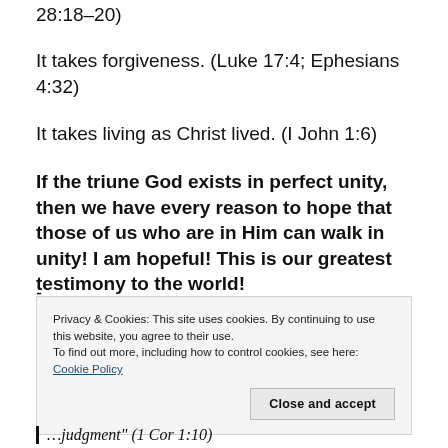28:18–20)
It takes forgiveness. (Luke 17:4; Ephesians 4:32)
It takes living as Christ lived. (I John 1:6)
If the triune God exists in perfect unity, then we have every reason to hope that those of us who are in Him can walk in unity! I am hopeful! This is our greatest testimony to the world!
Privacy & Cookies: This site uses cookies. By continuing to use this website, you agree to their use.
To find out more, including how to control cookies, see here: Cookie Policy
Close and accept
judgment" (1 Cor 1:10)